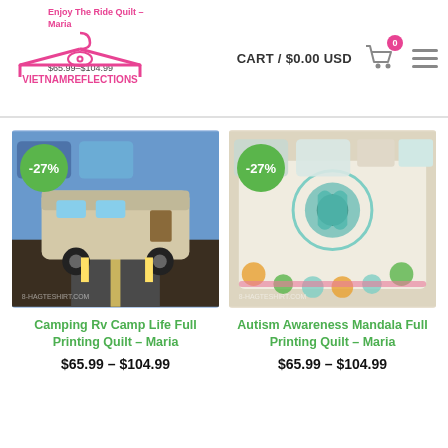VIETNAMREFLECTIONS | CART / $0.00 USD
[Figure (photo): Product photo of Camping Rv Camp Life Full Printing Quilt - Maria, showing a bed with RV camping scene quilt, with -27% discount badge]
Camping Rv Camp Life Full Printing Quilt – Maria
$65.99 – $104.99
[Figure (photo): Product photo of Autism Awareness Mandala Full Printing Quilt - Maria, showing a bed with autism puzzle piece mandala quilt, with -27% discount badge]
Autism Awareness Mandala Full Printing Quilt – Maria
$65.99 – $104.99